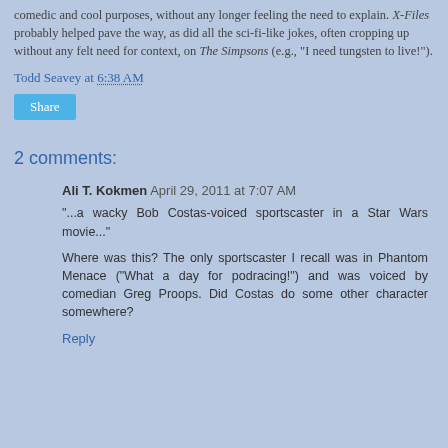comedic and cool purposes, without any longer feeling the need to explain. X-Files probably helped pave the way, as did all the sci-fi-like jokes, often cropping up without any felt need for context, on The Simpsons (e.g., "I need tungsten to live!").
Todd Seavey at 6:38 AM
Share
2 comments:
Ali T. Kokmen April 29, 2011 at 7:07 AM
"...a wacky Bob Costas-voiced sportscaster in a Star Wars movie..."
Where was this? The only sportscaster I recall was in Phantom Menace ("What a day for podracing!") and was voiced by comedian Greg Proops. Did Costas do some other character somewhere?
Reply